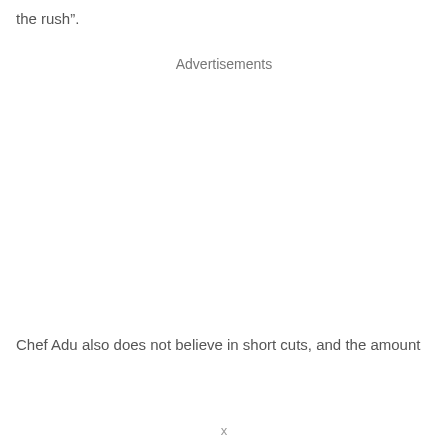the rush”.
Advertisements
Chef Adu also does not believe in short cuts, and the amount
x